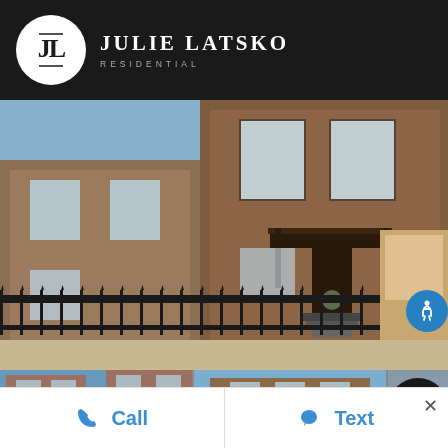[Figure (logo): Julie Latsko Residential logo — white circle with stylized JL monogram on black header bar]
JULIE LATSKO RESIDENTIAL
[Figure (photo): Exterior photo of a two-story brick row house with black iron fence, front porch with dark canopy, stairs, and wreath on door. Blue sky with bare trees visible on left.]
[Figure (photo): Smaller thumbnail of same or similar brick building exterior, left panel]
[Figure (photo): Smaller thumbnail of brick building exterior, center panel]
Call
Text